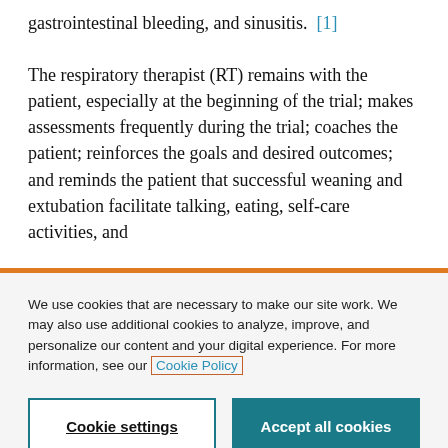gastrointestinal bleeding, and sinusitis. [1] The respiratory therapist (RT) remains with the patient, especially at the beginning of the trial; makes assessments frequently during the trial; coaches the patient; reinforces the goals and desired outcomes; and reminds the patient that successful weaning and extubation facilitate talking, eating, self-care activities, and
We use cookies that are necessary to make our site work. We may also use additional cookies to analyze, improve, and personalize our content and your digital experience. For more information, see our Cookie Policy
Cookie settings
Accept all cookies